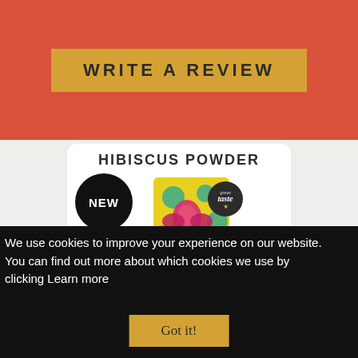WRITE A REVIEW
HIBISCUS POWDER
[Figure (photo): Hibiscus Powder product package with colorful floral design (pink hibiscus flowers on yellow background with teal sunburst patterns). A black circle badge says NEW on the left. A 'great taste' award seal is visible on the right.]
We use cookies to improve your experience on our website. You can find out more about which cookies we use by clicking Learn more
Got it!